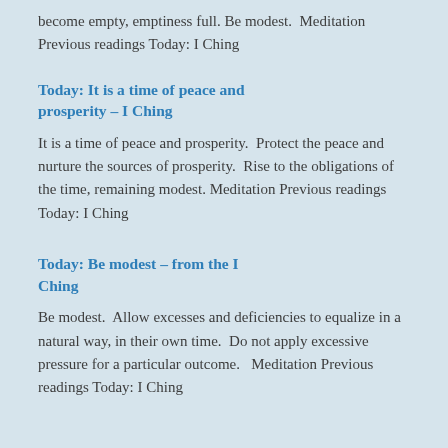become empty, emptiness full. Be modest.  Meditation Previous readings Today: I Ching
Today: It is a time of peace and prosperity – I Ching
It is a time of peace and prosperity.  Protect the peace and nurture the sources of prosperity.  Rise to the obligations of the time, remaining modest. Meditation Previous readings Today: I Ching
Today: Be modest – from the I Ching
Be modest.  Allow excesses and deficiencies to equalize in a natural way, in their own time.  Do not apply excessive pressure for a particular outcome.   Meditation Previous readings Today: I Ching